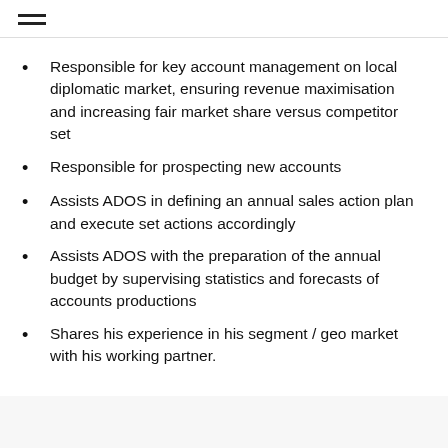Responsible for key account management on local diplomatic market, ensuring revenue maximisation and increasing fair market share versus competitor set
Responsible for prospecting new accounts
Assists ADOS in defining an annual sales action plan and execute set actions accordingly
Assists ADOS with the preparation of the annual budget by supervising statistics and forecasts of accounts productions
Shares his experience in his segment / geo market with his working partner.